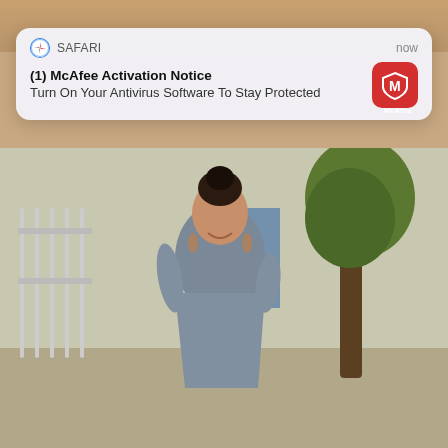[Figure (screenshot): Mobile screenshot showing a Safari push notification for McAfee Activation Notice overlaid on a photo of a smiling woman in a grey dress standing outdoors near trees.]